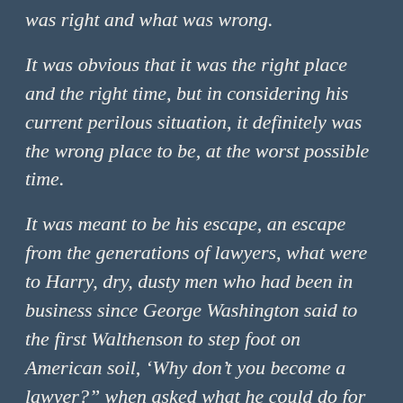was right and what was wrong.
It was obvious that it was the right place and the right time, but in considering his current perilous situation, it definitely was the wrong place to be, at the worst possible time.
It was meant to be his escape, an escape from the generations of lawyers, what were to Harry, dry, dusty men who had been in business since George Washington said to the first Walthenson to step foot on American soil, ‘Why don’t you become a lawyer?” when asked what he could do for the great man.
Or so it was handed down as lore, though Harry didn’t think Washington meant it literally, the Walthenson’s, then as now, were not shy of taking advice.